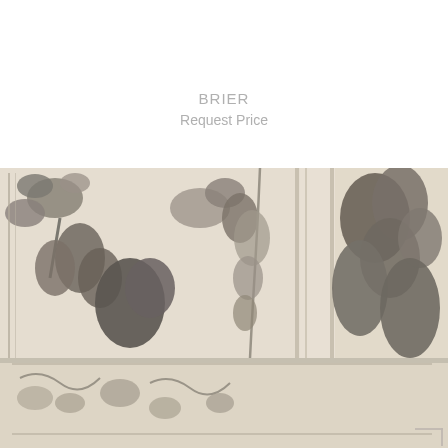BRIER
Request Price
[Figure (photo): Close-up photograph of a rug named BRIER, showing a detailed floral and botanical pattern in grey/charcoal tones on a cream/beige background. The rug features ornate leaf, floral, and vine motifs arranged in panels with border elements. The texture is clearly visible with a hand-knotted or hand-tufted appearance.]